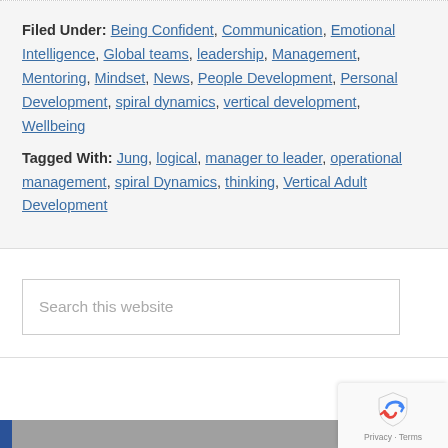Filed Under: Being Confident, Communication, Emotional Intelligence, Global teams, leadership, Management, Mentoring, Mindset, News, People Development, Personal Development, spiral dynamics, vertical development, Wellbeing
Tagged With: Jung, logical, manager to leader, operational management, spiral Dynamics, thinking, Vertical Adult Development
Search this website